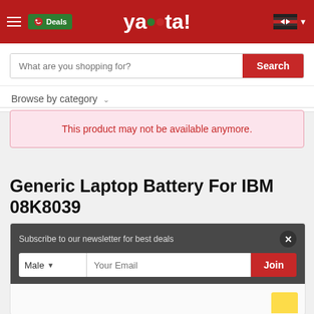[Figure (screenshot): Yaoota! e-commerce website header with logo, Kenya flag, hamburger menu, and Deals badge]
What are you shopping for?
Browse by category
This product may not be available anymore.
Generic Laptop Battery For IBM 08K8039
Subscribe to our newsletter for best deals
Male | Your Email | Join